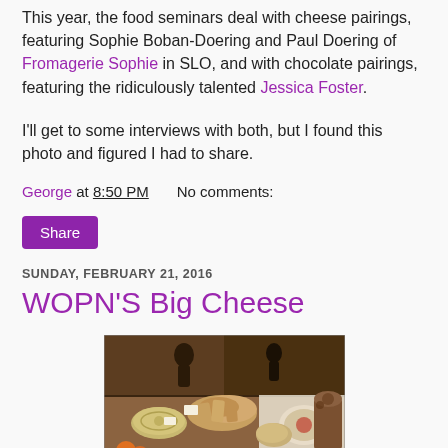This year, the food seminars deal with cheese pairings, featuring Sophie Boban-Doering and Paul Doering of Fromagerie Sophie in SLO, and with chocolate pairings, featuring the ridiculously talented Jessica Foster.
I'll get to some interviews with both, but I found this photo and figured I had to share.
George at 8:50 PM    No comments:
Share
SUNDAY, FEBRUARY 21, 2016
WOPN'S Big Cheese
[Figure (photo): A table laden with cheeses, bread, charcuterie, and other food items at what appears to be a cheese tasting event or market display.]